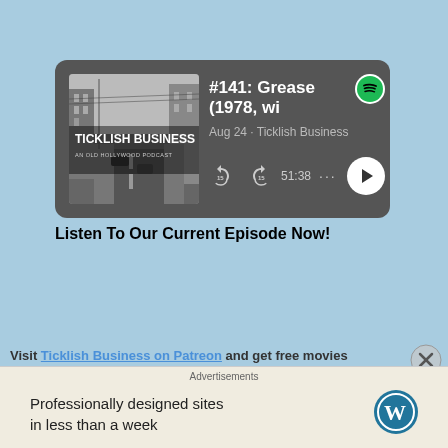[Figure (screenshot): Spotify podcast player card showing episode #141: Grease (1978, wi... by Ticklish Business, Aug 24, with playback controls showing 51:38 remaining]
Listen To Our Current Episode Now!
Visit Ticklish Business on Patreon and get free movies
Advertisements
Professionally designed sites in less than a week